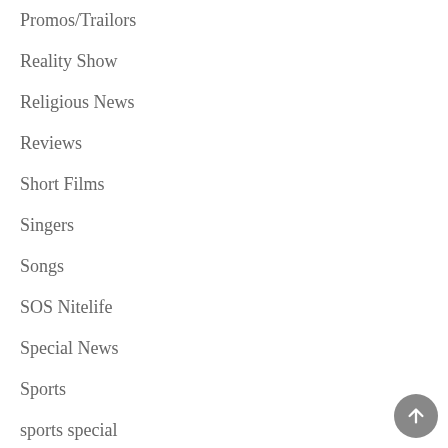Promos/Trailors
Reality Show
Religious News
Reviews
Short Films
Singers
Songs
SOS Nitelife
Special News
Sports
sports special
Top Story
Trending News
TV